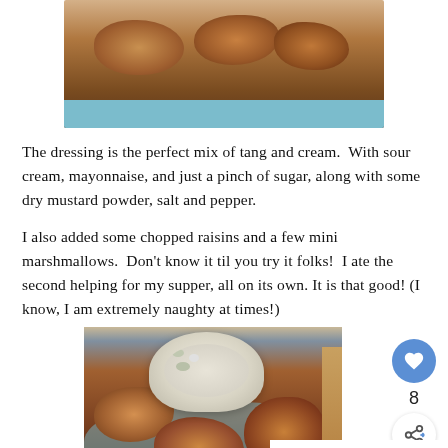[Figure (photo): Overhead photo of cooked chicken pieces on a blue plate, top portion only visible]
The dressing is the perfect mix of tang and cream. With sour cream, mayonnaise, and just a pinch of sugar, along with some dry mustard powder, salt and pepper.
I also added some chopped raisins and a few mini marshmallows. Don't know it til you try it folks! I ate the second helping for my supper, all on its own. It is that good! (I know, I am extremely naughty at times!)
[Figure (photo): Photo of cooked chicken pieces on a blue plate with a bowl of creamy salad with marshmallows, wooden table background]
WHAT'S NEXT → Honey Mustard...